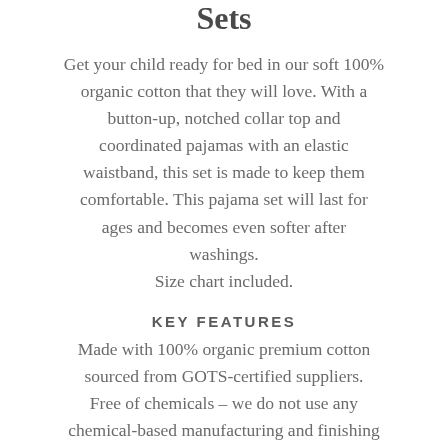Sets
Get your child ready for bed in our soft 100% organic cotton that they will love. With a button-up, notched collar top and coordinated pajamas with an elastic waistband, this set is made to keep them comfortable. This pajama set will last for ages and becomes even softer after washings.
Size chart included.
KEY FEATURES
Made with 100% organic premium cotton sourced from GOTS-certified suppliers.
Free of chemicals – we do not use any chemical-based manufacturing and finishing